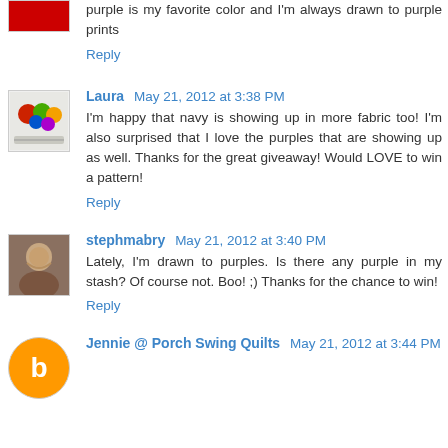purple is my favorite color and I'm always drawn to purple prints
Reply
Laura May 21, 2012 at 3:38 PM
I'm happy that navy is showing up in more fabric too! I'm also surprised that I love the purples that are showing up as well. Thanks for the great giveaway! Would LOVE to win a pattern!
Reply
stephmabry May 21, 2012 at 3:40 PM
Lately, I'm drawn to purples. Is there any purple in my stash? Of course not. Boo! ;) Thanks for the chance to win!
Reply
Jennie @ Porch Swing Quilts May 21, 2012 at 3:44 PM